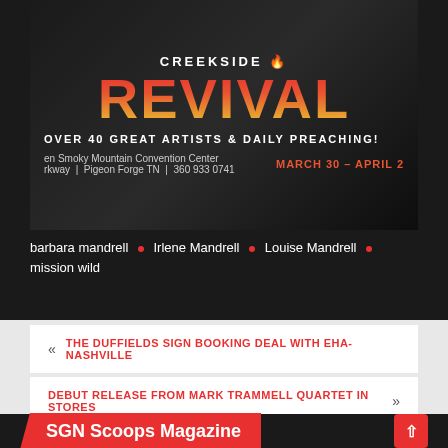[Figure (illustration): Creekside Revival event poster on dark background showing 'CREEKSIDE REVIVAL' text with 'OVER 40 GREAT ARTISTS & DAILY PREACHING!' tagline. Venue: Smoky Mountain Convention Center, Pigeon Forge TN, 360 933 0741. Dates: MARCH 30 - APRIL 2.]
barbara mandrell • Irlene Mandrell • Louise Mandrell • mission wild
« THE DUFFIELDS SIGN BOOKING DEAL WITH EHA-NASHVILLE
DEBUT RELEASE FROM MARK TRAMMELL QUARTET IN STORES »
SGN Scoops Magazine